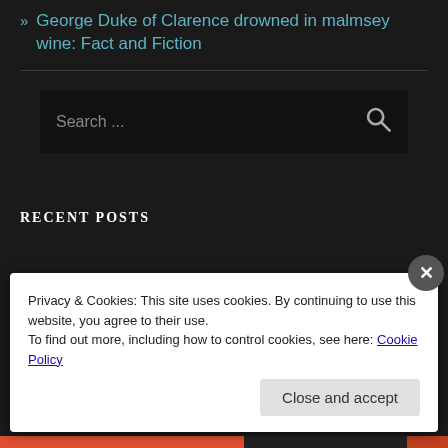» George Duke of Clarence drowned in malmsey wine: Fact and Fiction
[Figure (screenshot): Search bar with placeholder text 'Search ...' and a search icon on dark background]
RECENT POSTS
Privacy & Cookies: This site uses cookies. By continuing to use this website, you agree to their use.
To find out more, including how to control cookies, see here: Cookie Policy
Close and accept